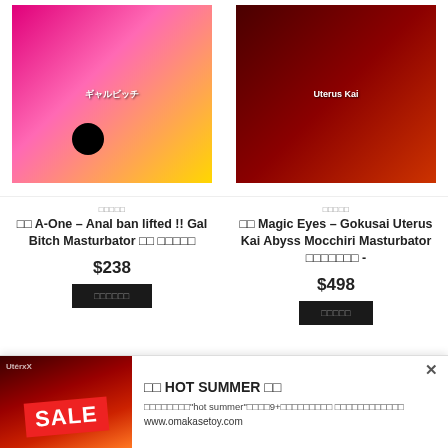[Figure (photo): Product image for A-One anal masturbator - anime style manga cover with pink background]
[Figure (photo): Product image for Magic Eyes Gokusai Uterus Kai masturbator - anime figure on dark red box packaging]
□□□□□
□□ A-One – Anal ban lifted !! Gal Bitch Masturbator □□ □□□□□
$238
□□□□□□
□□□□□
□□ Magic Eyes – Gokusai Uterus Kai Abyss Mocchiri Masturbator □□□□□□□ -
$498
□□□□□
□□ HOT SUMMER □□
□□□□□□□□"hot summer"□□□□9+□□□□□□□□□ □□□□□□□□□□□□
www.omakasetoy.com